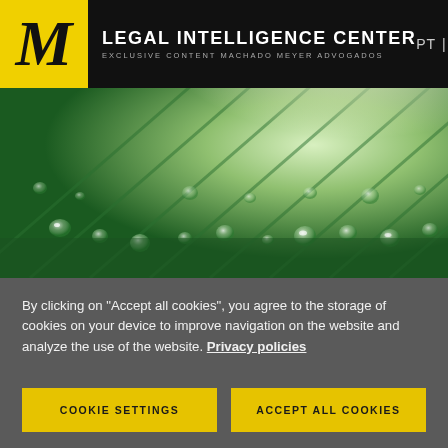LEGAL INTELLIGENCE CENTER — EXCLUSIVE CONTENT MACHADO MEYER ADVOGADOS | PT | EN
[Figure (photo): Close-up macro photograph of water droplets on a green leaf, with bright light in the background creating a bokeh effect.]
By clicking on "Accept all cookies", you agree to the storage of cookies on your device to improve navigation on the website and analyze the use of the website. Privacy policies
COOKIE SETTINGS
ACCEPT ALL COOKIES